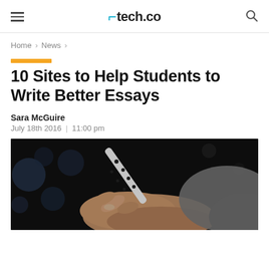tech.co
Home > News >
10 Sites to Help Students to Write Better Essays
Sara McGuire
July 18th 2016  |  11:00 pm
[Figure (photo): A hand holding a white pen with black dots, writing, against a dark blurred background. The person wears a grey jacket.]